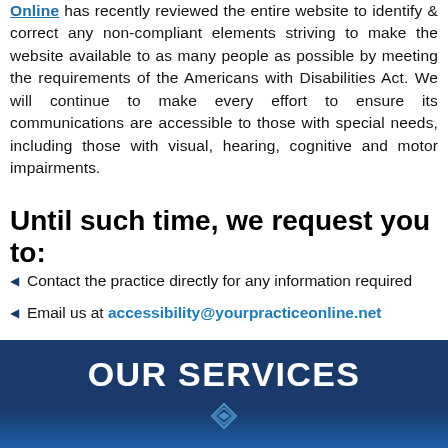Online has recently reviewed the entire website to identify & correct any non-compliant elements striving to make the website available to as many people as possible by meeting the requirements of the Americans with Disabilities Act. We will continue to make every effort to ensure its communications are accessible to those with special needs, including those with visual, hearing, cognitive and motor impairments.
Until such time, we request you to:
Contact the practice directly for any information required
Email us at accessibility@yourpracticeonline.net
Or call us on (877) 388-8569
[Figure (other): Dark blue banner with white bold text 'OUR SERVICES' and small diamond/book logo icon below text]